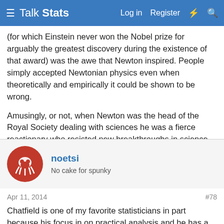Talk Stats — Log in  Register
(for which Einstein never won the Nobel prize for arguably the greatest discovery during the existence of that award) was the awe that Newton inspired. People simply accepted Newtonian physics even when theoretically and empirically it could be shown to be wrong.

Amusingly, or not, when Newton was the head of the Royal Society dealing with sciences he was a fierce reactionary who resisted new breakthroughs in science.
noetsi
No cake for spunky
Apr 11, 2014
#78
Chatfield is one of my favorite statisticians in part because his focus in on practical analysis and he has a somewhat irrelevant view of the common academic wisdom. Here is one comment of his I found amusing.